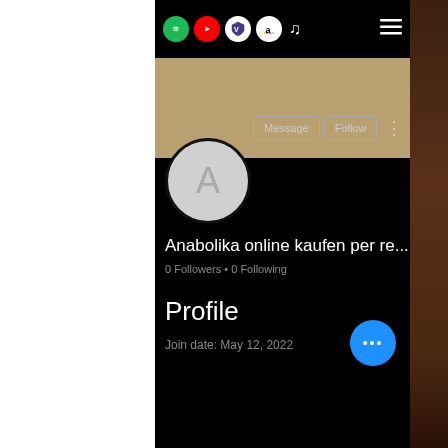[Figure (screenshot): Mobile app screenshot showing a user profile page with dark theme. Top navigation bar with app icons (Spotify, YouTube, game icon, Amazon, music note) and hamburger menu. Gold/tan banner below. Profile avatar circle with letter A. Message and Follow buttons. Username: Anabolika online kaufen per re... 0 Followers • 0 Following. Profile section with Join date: May 12, 2022. Blue FAB button with three dots.]